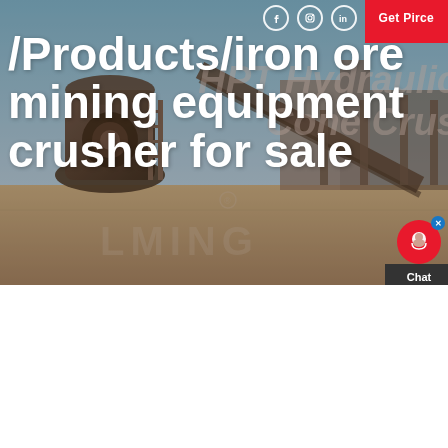[Figure (photo): Industrial mining site with large crusher equipment, conveyor belts, and heavy machinery under a hazy sky. Watermark text 'HPT Hydraulic Cone Crusher' and 'LMING' visible.]
Get Pirce
/Products/iron ore mining equipment crusher for sale
[Figure (photo): Close-up photo of a cone crusher machine inside an industrial warehouse with metal roof structure visible in background.]